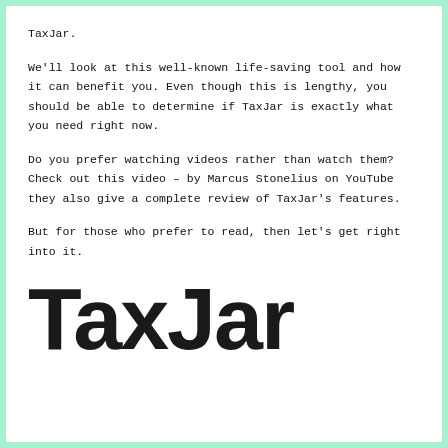TaxJar.
We'll look at this well-known life-saving tool and how it can benefit you. Even though this is lengthy, you should be able to determine if TaxJar is exactly what you need right now.
Do you prefer watching videos rather than watch them? Check out this video – by Marcus Stonelius on YouTube they also give a complete review of TaxJar's features.
But for those who prefer to read, then let's get right into it.
[Figure (logo): TaxJar logo in large bold black sans-serif text]